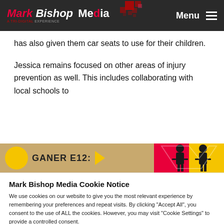Mark Bishop Media — A TRI-DIGITAL EXPERIENCE | Menu
has also given them car seats to use for their children.
Jessica remains focused on other areas of injury prevention as well. This includes collaborating with local schools to
[Figure (other): Advertisement strip with yellow circle, GANER E12: text, arrow, and red/yellow graphic with silhouettes on right]
Mark Bishop Media Cookie Notice
We use cookies on our website to give you the most relevant experience by remembering your preferences and repeat visits. By clicking "Accept All", you consent to the use of ALL the cookies. However, you may visit "Cookie Settings" to provide a controlled consent.
Cookie Settings   Accept All